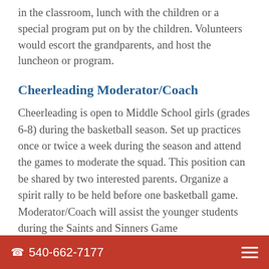in the classroom, lunch with the children or a special program put on by the children. Volunteers would escort the grandparents, and host the luncheon or program.
Cheerleading Moderator/Coach
Cheerleading is open to Middle School girls (grades 6-8) during the basketball season. Set up practices once or twice a week during the season and attend the games to moderate the squad. This position can be shared by two interested parents. Organize a spirit rally to be held before one basketball game. Moderator/Coach will assist the younger students during the Saints and Sinners Game
540-662-7177